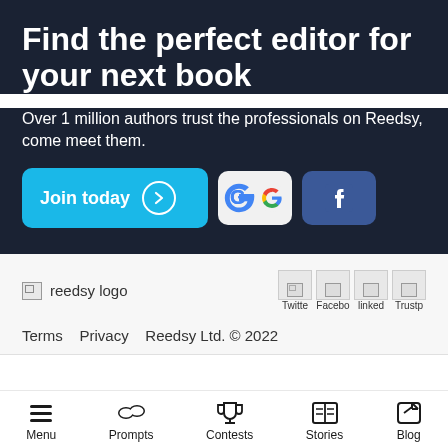Find the perfect editor for your next book
Over 1 million authors trust the professionals on Reedsy, come meet them.
[Figure (other): Three buttons: 'Join today' with arrow (blue), Google sign-in (white/grey), Facebook sign-in (blue)]
[Figure (logo): Reedsy logo placeholder with broken image icon and text 'reedsy logo']
[Figure (other): Social media icon placeholders for Twitter, Facebook, LinkedIn, Trustpilot]
Terms   Privacy   Reedsy Ltd. © 2022
Menu   Prompts   Contests   Stories   Blog